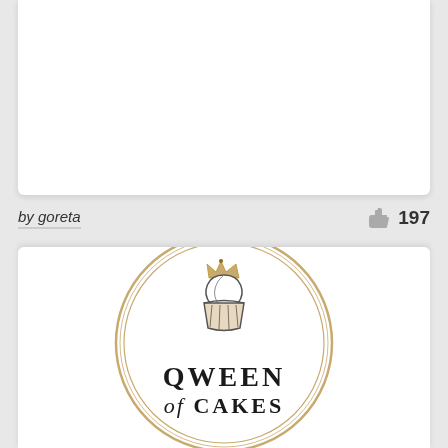[Figure (other): Top white card area - partial image/content area cropped at top]
by goreta
197
[Figure (logo): Queen of Cakes circular logo with cupcake and crown illustration, text reads QWEEN of CAKES inside a double-ring gold/tan border circle]